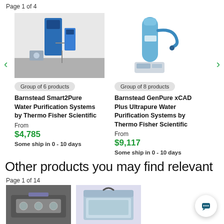Page 1 of 4
[Figure (photo): Barnstead Smart2Pure water purification system, blue unit wall-mounted]
Group of 6 products
Barnstead Smart2Pure Water Purification Systems by Thermo Fisher Scientific
From
$4,785
Some ship in 0 - 10 days
[Figure (photo): Barnstead GenPure xCAD Plus water purification system, blue unit with curved arm]
Group of 8 products
Barnstead GenPure xCAD Plus Ultrapure Water Purification Systems by Thermo Fisher Scientific
From
$9,117
Some ship in 0 - 10 days
Other products you may find relevant
Page 1 of 14
[Figure (photo): Laboratory instrument, bottom-left product thumbnail]
[Figure (photo): Laboratory instrument, bottom-center product thumbnail]